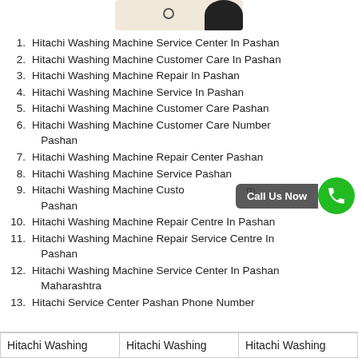[Figure (photo): Partial image at top of page showing a light-colored background with a dark figure silhouette on the right side]
Hitachi Washing Machine Service Center In Pashan
Hitachi Washing Machine Customer Care In Pashan
Hitachi Washing Machine Repair In Pashan
Hitachi Washing Machine Service In Pashan
Hitachi Washing Machine Customer Care Pashan
Hitachi Washing Machine Customer Care Number Pashan
Hitachi Washing Machine Repair Center Pashan
Hitachi Washing Machine Service Pashan
Hitachi Washing Machine Customer Care Number Pashan
Hitachi Washing Machine Repair Centre In Pashan
Hitachi Washing Machine Repair Service Centre In Pashan
Hitachi Washing Machine Service Center In Pashan Maharashtra
Hitachi Service Center Pashan Phone Number
| Hitachi Washing | Hitachi Washing | Hitachi Washing |
| --- | --- | --- |